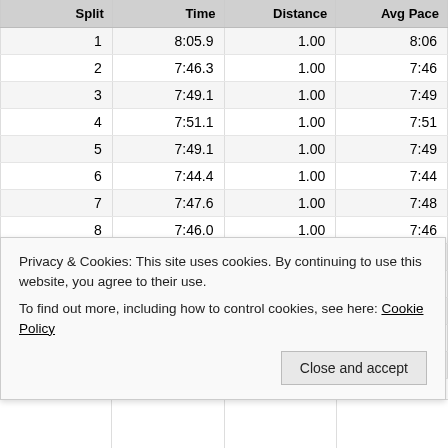| Split | Time | Distance | Avg Pace |
| --- | --- | --- | --- |
| 1 | 8:05.9 | 1.00 | 8:06 |
| 2 | 7:46.3 | 1.00 | 7:46 |
| 3 | 7:49.1 | 1.00 | 7:49 |
| 4 | 7:51.1 | 1.00 | 7:51 |
| 5 | 7:49.1 | 1.00 | 7:49 |
| 6 | 7:44.4 | 1.00 | 7:44 |
| 7 | 7:47.6 | 1.00 | 7:48 |
| 8 | 7:46.0 | 1.00 | 7:46 |
| 9 | 7:45.5 | 1.00 | 7:46 |
| 10 | 7:54.2 | 1.00 | 7:54 |
| 11 | 7:49.3 | 1.00 | 7:49 |
| 12 | 7:49.6 | 1.00 | 7:50 |
| 13 | 7:53.8 | 1.00 | 7:54 |
Privacy & Cookies: This site uses cookies. By continuing to use this website, you agree to their use.
To find out more, including how to control cookies, see here: Cookie Policy